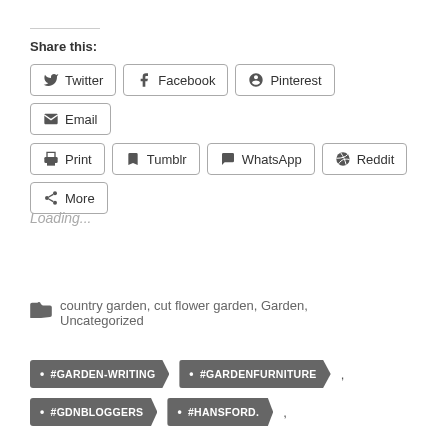Share this:
[Figure (screenshot): Social share buttons row 1: Twitter, Facebook, Pinterest, Email]
[Figure (screenshot): Social share buttons row 2: Print, Tumblr, WhatsApp, Reddit, More]
Loading...
country garden, cut flower garden, Garden, Uncategorized
#GARDEN-WRITING  #GARDENFURNITURE
#GDNBLOGGERS  #HANSFORD.